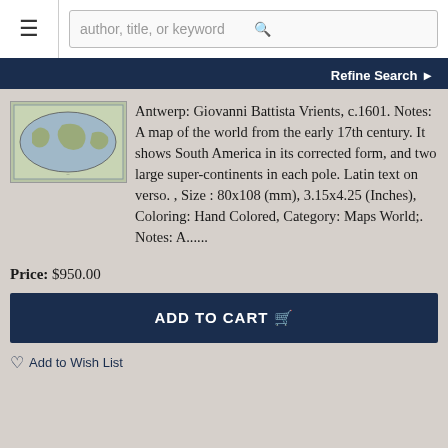author, title, or keyword | Refine Search
[Figure (photo): Thumbnail of an antique world map, hand colored, early 17th century style]
Antwerp: Giovanni Battista Vrients, c.1601. Notes: A map of the world from the early 17th century. It shows South America in its corrected form, and two large super-continents in each pole. Latin text on verso. , Size : 80x108 (mm), 3.15x4.25 (Inches), Coloring: Hand Colored, Category: Maps World;. Notes: A......
Price: $950.00
ADD TO CART
Add to Wish List